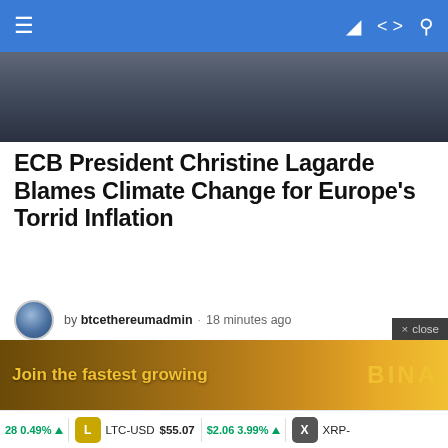≡ navigation bar with icons
[Figure (photo): Top portion of a person wearing dark clothing, partially cropped, with outdoor background]
ECB President Christine Lagarde Blames Climate Change for Europe's Torrid Inflation
by btcethereumadmin · 18 minutes ago
[Figure (photo): A brown bear animal silhouette overlaid on a financial candlestick chart with red and green candles, with green and red trend lines, dark background]
× close
Join the fastest growing
28 0.49% ▲  L  LTC-USD $55.07  $2.06 3.99% ▲   X  XRP-